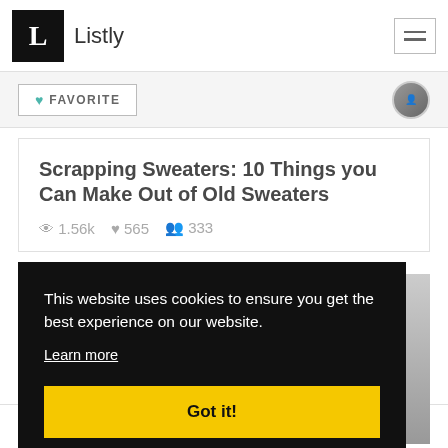Listly
♥ FAVORITE
Scrapping Sweaters: 10 Things you Can Make Out of Old Sweaters
👁 1.56k  ♥ 565  👥 333
[Figure (photo): Photo of person against brick wall background]
This website uses cookies to ensure you get the best experience on our website. Learn more
Got it!